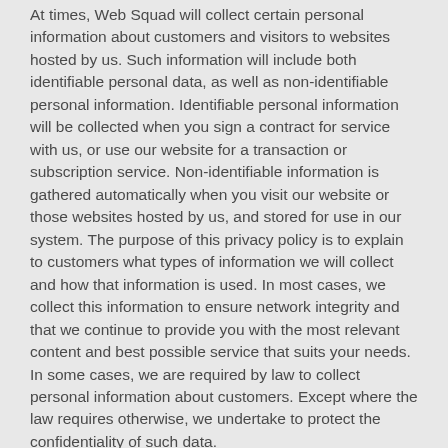At times, Web Squad will collect certain personal information about customers and visitors to websites hosted by us. Such information will include both identifiable personal data, as well as non-identifiable personal information. Identifiable personal information will be collected when you sign a contract for service with us, or use our website for a transaction or subscription service. Non-identifiable information is gathered automatically when you visit our website or those websites hosted by us, and stored for use in our system. The purpose of this privacy policy is to explain to customers what types of information we will collect and how that information is used. In most cases, we collect this information to ensure network integrity and that we continue to provide you with the most relevant content and best possible service that suits your needs. In some cases, we are required by law to collect personal information about customers. Except where the law requires otherwise, we undertake to protect the confidentiality of such data.
Confidentiality
Web Squad respects customer privacy and the privacy of those accessing our website, or those websites hosted by